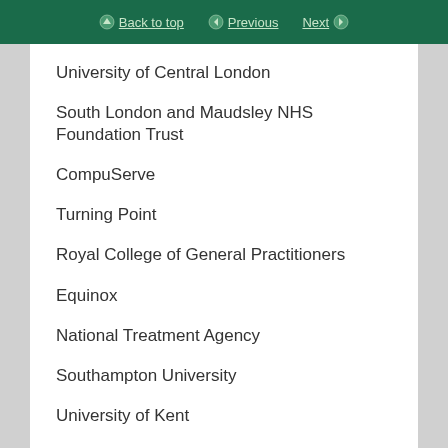Back to top | Previous | Next
University of Central London
South London and Maudsley NHS Foundation Trust
CompuServe
Turning Point
Royal College of General Practitioners
Equinox
National Treatment Agency
Southampton University
University of Kent